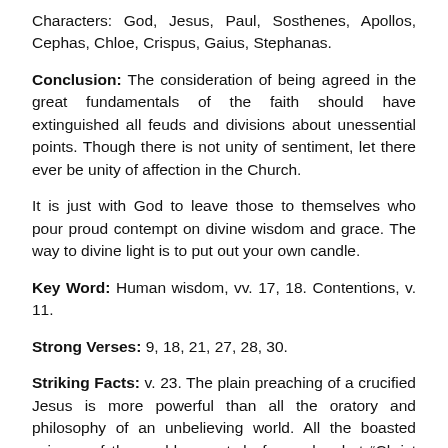Characters: God, Jesus, Paul, Sosthenes, Apollos, Cephas, Chloe, Crispus, Gaius, Stephanas.
Conclusion: The consideration of being agreed in the great fundamentals of the faith should have extinguished all feuds and divisions about unessential points. Though there is not unity of sentiment, let there ever be unity of affection in the Church.
It is just with God to leave those to themselves who pour proud contempt on divine wisdom and grace. The way to divine light is to put out your own candle.
Key Word: Human wisdom, vv. 17, 18. Contentions, v. 11.
Strong Verses: 9, 18, 21, 27, 28, 30.
Striking Facts: v. 23. The plain preaching of a crucified Jesus is more powerful than all the oratory and philosophy of an unbelieving world. All the boasted science of the world cannot do for souls what “Christ crucified” does. All one needs, or can desire, they may have in Him (vv. 30–31). He is made wisdom to the foolish, righteousness to the